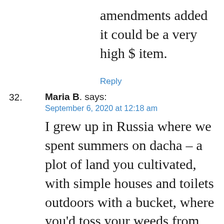amendments added it could be a very high $ item.
Reply
32. Maria B. says: September 6, 2020 at 12:18 am — I grew up in Russia where we spent summers on dacha – a plot of land you cultivated, with simple houses and toilets outdoors with a bucket, where you'd toss your weeds from the garden into that bucket to cover your poop and then of